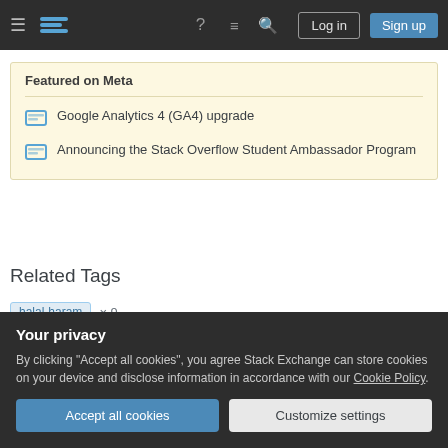Stack Overflow navigation bar with Log in and Sign up buttons
Featured on Meta
Google Analytics 4 (GA4) upgrade
Announcing the Stack Overflow Student Ambassador Program
Related Tags
halal-haram × 9
sin × 2
Your privacy
By clicking "Accept all cookies", you agree Stack Exchange can store cookies on your device and disclose information in accordance with our Cookie Policy.
Accept all cookies | Customize settings